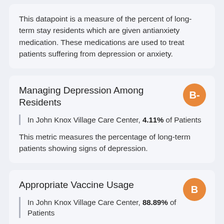This datapoint is a measure of the percent of long-term stay residents which are given antianxiety medication. These medications are used to treat patients suffering from depression or anxiety.
Managing Depression Among Residents
In John Knox Village Care Center, 4.11% of Patients
This metric measures the percentage of long-term patients showing signs of depression.
Appropriate Vaccine Usage
In John Knox Village Care Center, 88.89% of Patients